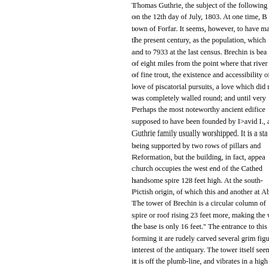Thomas Guthrie, the subject of the following b on the 12th day of July, 1803. At one time, B town of Forfar. It seems, however, to have ma the present century, as the population, which and to 7933 at the last census. Brechin is bea of eight miles from the point where that river j of fine trout, the existence and accessibility o love of piscatorial pursuits, a love which did n was completely walled round; and until very Perhaps the most noteworthy ancient edifice supposed to have been founded by D avid I., a Guthrie family usually worshipped. It is a sta being supported by two rows of pillars and Reformation, but the building, in fact, appears church occupies the west end of the Cathe handsome spire 128 feet high. At the south- Pictish origin, of which this and another at Ab The tower of Brechin is a circular column of spire or roof rising 23 feet more, making the w the base is only 16 feet." The entrance to this forming it are rudely carved several grim figu interest of the antiquary. The tower itself seem it is off the plumb-line, and vibrates in a high w places of interest, not the least important being on a perpendicular rock, overhanging the sout and its grounds young Guthrie had easy acces Lord Panmure.
It is worthy of note that Maitland, author of historian of Greece; Dr Tytler, the translator of